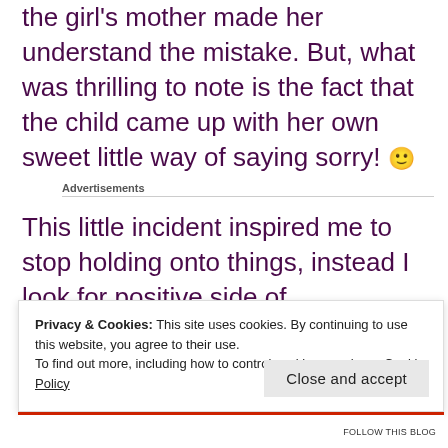the girl's mother made her understand the mistake. But, what was thrilling to note is the fact that the child came up with her own sweet little way of saying sorry! 🙂
Advertisements
This little incident inspired me to stop holding onto things, instead I look for positive side of
Privacy & Cookies: This site uses cookies. By continuing to use this website, you agree to their use.
To find out more, including how to control cookies, see here: Cookie Policy
Close and accept